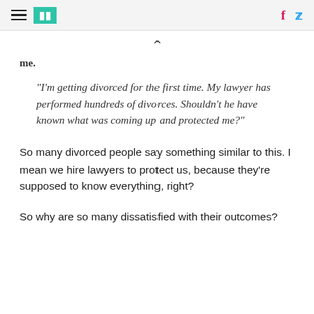HuffPost navigation and social icons
me.
"I'm getting divorced for the first time. My lawyer has performed hundreds of divorces. Shouldn't he have known what was coming up and protected me?"
So many divorced people say something similar to this. I mean we hire lawyers to protect us, because they're supposed to know everything, right?
So why are so many dissatisfied with their outcomes?